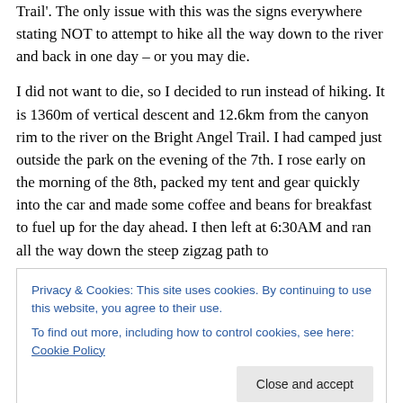Trail'.  The only issue with this was the signs everywhere stating NOT to attempt to hike all the way down to the river and back in one day – or you may die.
I did not want to die, so I decided to run instead of hiking.  It is 1360m of vertical descent and 12.6km from the canyon rim to the river on the Bright Angel Trail.  I had camped just outside the park on the evening of the 7th.  I rose early on the morning of the 8th, packed my tent and gear quickly into the car and made some coffee and beans for breakfast to fuel up for the day ahead.  I then left at 6:30AM and ran all the way down the steep zigzag path to
Privacy & Cookies: This site uses cookies. By continuing to use this website, you agree to their use.
To find out more, including how to control cookies, see here: Cookie Policy
Garden' about halfway down where you can hire mules or